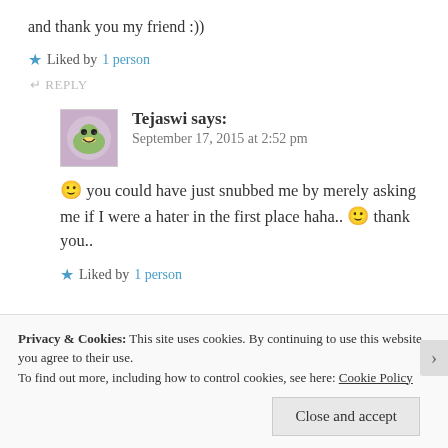and thank you my friend :))
★ Liked by 1 person
↵ REPLY
Tejaswi says: September 17, 2015 at 2:52 pm
🙂 you could have just snubbed me by merely asking me if I were a hater in the first place haha.. 🙂 thank you..
★ Liked by 1 person
Privacy & Cookies: This site uses cookies. By continuing to use this website, you agree to their use. To find out more, including how to control cookies, see here: Cookie Policy
Close and accept